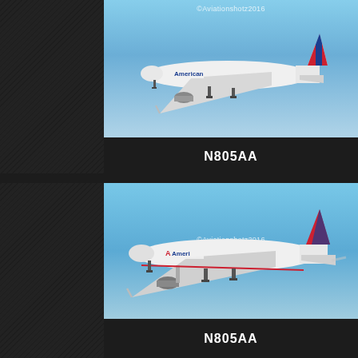[Figure (photo): American Airlines Boeing 787 in flight against blue sky, seen from below-front angle, with landing gear deployed. Watermark: ©Aviationshotz2016]
N805AA
[Figure (photo): American Airlines Boeing 787 in flight against blue sky, side view with landing gear deployed. Watermark: ©Aviationshotz2016]
N805AA